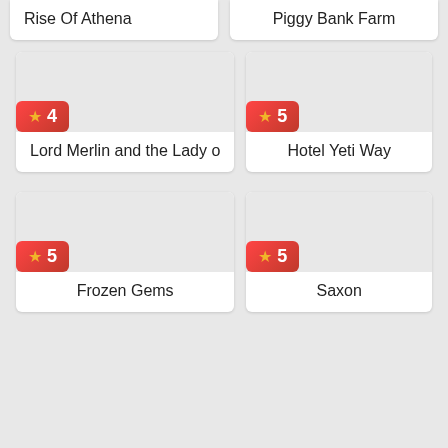Rise Of Athena
Piggy Bank Farm
[Figure (screenshot): Card with rating badge showing star 4, title: Lord Merlin and the Lady o]
[Figure (screenshot): Card with rating badge showing star 5, title: Hotel Yeti Way]
[Figure (screenshot): Card with rating badge showing star 5, title: Frozen Gems]
[Figure (screenshot): Card with rating badge showing star 5, title: Saxon]